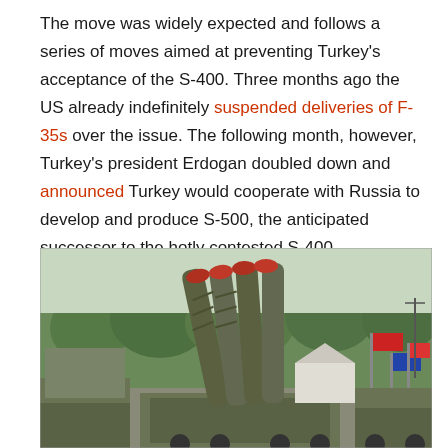The move was widely expected and follows a series of moves aimed at preventing Turkey's acceptance of the S-400. Three months ago the US already indefinitely suspended deliveries of F-35s over the issue. The following month, however, Turkey's president Erdogan doubled down and announced Turkey would cooperate with Russia to develop and produce S-500, the anticipated successor to the hotly contested S-400.
[Figure (photo): Photograph of a military S-400 surface-to-air missile system with large cylindrical missile launchers pointed upward, mounted on military vehicles, with trees and colorful flags visible in the background.]